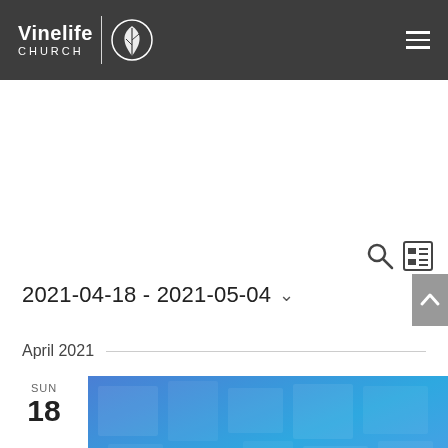Vinelife CHURCH
2021-04-18 - 2021-05-04
April 2021
SUN 18
[Figure (photo): Event image with blue tones showing WELLSPRING text overlay]